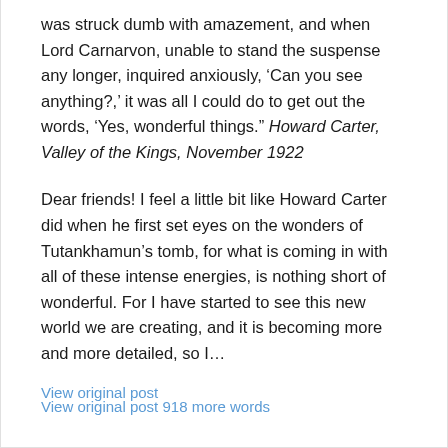was struck dumb with amazement, and when Lord Carnarvon, unable to stand the suspense any longer, inquired anxiously, ‘Can you see anything?,’ it was all I could do to get out the words, ‘Yes, wonderful things.” Howard Carter, Valley of the Kings, November 1922
Dear friends! I feel a little bit like Howard Carter did when he first set eyes on the wonders of Tutankhamun’s tomb, for what is coming in with all of these intense energies, is nothing short of wonderful. For I have started to see this new world we are creating, and it is becoming more and more detailed, so I…
View original post 918 more words